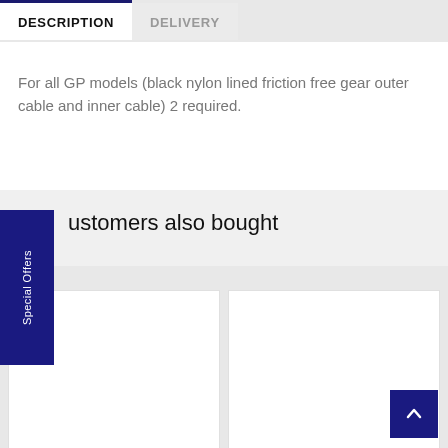DESCRIPTION
DELIVERY
For all GP models (black nylon lined friction free gear outer cable and inner cable) 2 required.
Special Offers
ustomers also bought